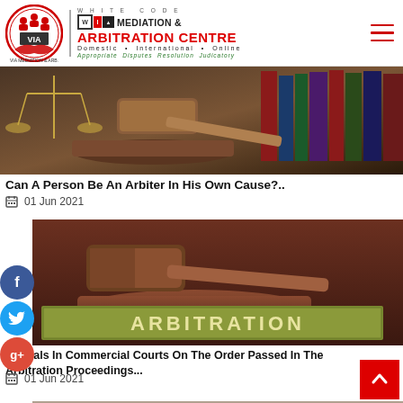[Figure (logo): White Code VIA Mediation & Arbitration Centre logo with red circle handshake icon and text]
[Figure (photo): Legal scales, gavel and law books on a desk]
Can A Person Be An Arbiter In His Own Cause?..
01 Jun 2021
[Figure (photo): Gavel resting on a wooden block with an ARBITRATION sign below]
Appeals In Commercial Courts On The Order Passed In The Arbitration Proceedings...
01 Jun 2021
[Figure (photo): Legal documents partially visible at bottom of page]